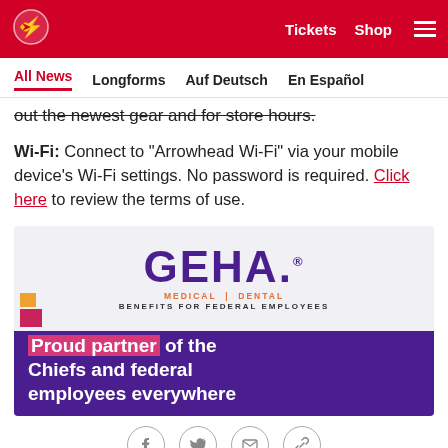Kansas City Chiefs — Tickets  Shop  [menu]
All News  Longforms  Auf Deutsch  En Español
out the newest gear and for store hours.
Wi-Fi: Connect to "Arrowhead Wi-Fi" via your mobile device's Wi-Fi settings. No password is required. Click here to review the terms of use.
[Figure (advertisement): GEHA advertisement. Top section: GEHA. logo in purple with 'MEDICAL | DENTAL' in orange and 'BENEFITS FOR FEDERAL EMPLOYEES' in dark text on light gray background. Bottom section: purple background with text 'Proud partner of the Chiefs and federal employees everywhere' in white, with 'Proud partner' highlighted in pink.]
Social share icons: Facebook, Twitter, Email, Link